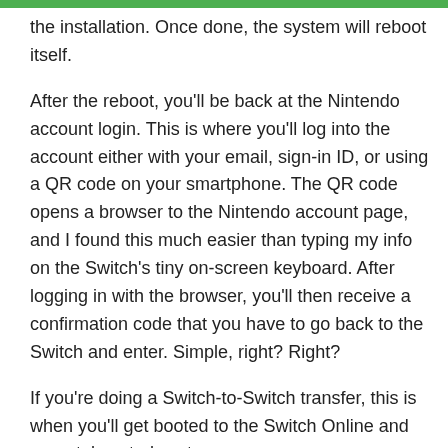the installation. Once done, the system will reboot itself.
After the reboot, you'll be back at the Nintendo account login. This is where you'll log into the account either with your email, sign-in ID, or using a QR code on your smartphone. The QR code opens a browser to the Nintendo account page, and I found this much easier than typing my info on the Switch's tiny on-screen keyboard. After logging in with the browser, you'll then receive a confirmation code that you have to go back to the Switch and enter. Simple, right? Right?
If you're doing a Switch-to-Switch transfer, this is when you'll get booted to the Switch Online and parental controls setup screens.
Nintendo